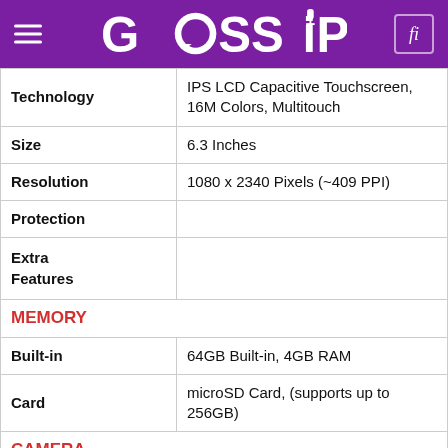GOSSIP
| Feature | Value |
| --- | --- |
| Technology | IPS LCD Capacitive Touchscreen, 16M Colors, Multitouch |
| Size | 6.3 Inches |
| Resolution | 1080 x 2340 Pixels (~409 PPI) |
| Protection |  |
| Extra Features |  |
| MEMORY |  |
| Built-in | 64GB Built-in, 4GB RAM |
| Card | microSD Card, (supports up to 256GB) |
| CAMERA |  |
| Main | Dual 16, f/2.2, PDAF + 2 MP, f/2.4, depth sensor, LED Flash |
| Features | Geo-tagging, Phase detection, touch focus, HDR, panorama, Video ([email protected], [email protected]) |
| Front | 16 MP, f/2.0, Video ([email protected]) |